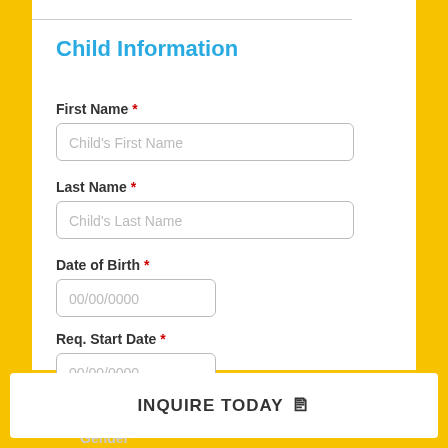Child Information
First Name *
Child's First Name (placeholder)
Last Name *
Child's Last Name (placeholder)
Date of Birth *
00/00/0000 (placeholder)
Req. Start Date *
00/00/0000 (placeholder)
Gender*
INQUIRE TODAY